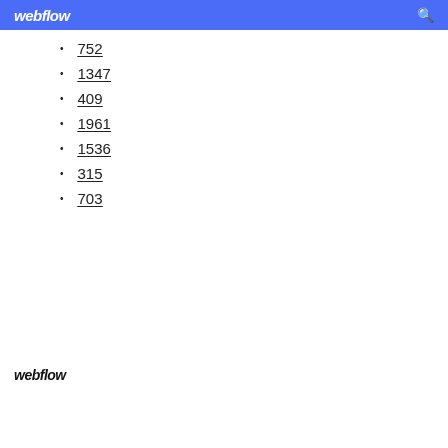webflow
752
1347
409
1961
1536
315
703
webflow